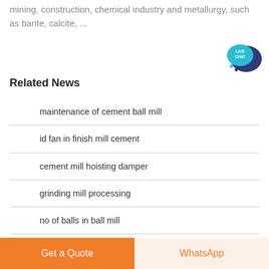mining, construction, chemical industry and metallurgy, such as barite, calcite, ...
Related News
maintenance of cement ball mill
id fan in finish mill cement
cement mill hoisting damper
grinding mill processing
no of balls in ball mill
zimbabwe gold grinding mill supplier
[Figure (illustration): Live chat speech bubble icon in teal and dark blue]
Get a Quote   WhatsApp